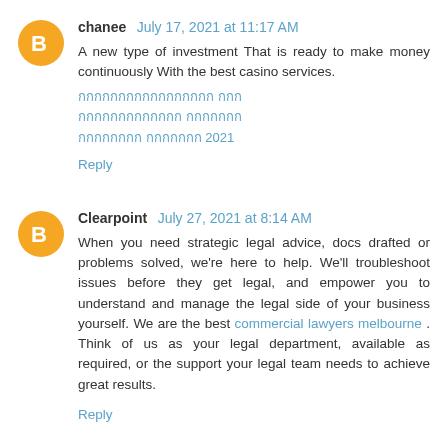chanee July 17, 2021 at 11:17 AM
A new type of investment That is ready to make money continuously With the best casino services.
[Thai text links]
Reply
Clearpoint July 27, 2021 at 8:14 AM
When you need strategic legal advice, docs drafted or problems solved, we're here to help. We'll troubleshoot issues before they get legal, and empower you to understand and manage the legal side of your business yourself. We are the best commercial lawyers melbourne . Think of us as your legal department, available as required, or the support your legal team needs to achieve great results.
Reply